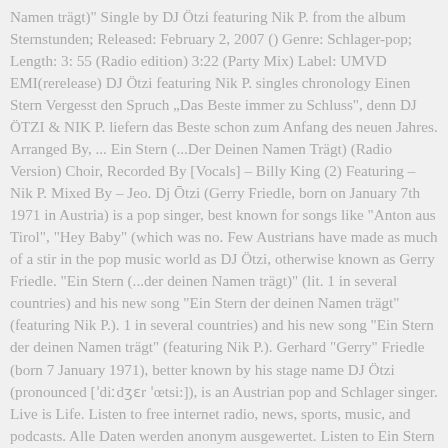Namen trägt)" Single by DJ Ötzi featuring Nik P. from the album Sternstunden; Released: February 2, 2007 () Genre: Schlager-pop; Length: 3: 55 (Radio edition) 3:22 (Party Mix) Label: UMVD EMI(rerelease) DJ Ötzi featuring Nik P. singles chronology Einen Stern Vergesst den Spruch „Das Beste immer zu Schluss", denn DJ ÖTZI & NIK P. liefern das Beste schon zum Anfang des neuen Jahres. Arranged By, ... Ein Stern (...Der Deinen Namen Trägt) (Radio Version) Choir, Recorded By [Vocals] – Billy King (2) Featuring – Nik P. Mixed By – Jeo. Dj Ōtzi (Gerry Friedle, born on January 7th 1971 in Austria) is a pop singer, best known for songs like "Anton aus Tirol", "Hey Baby" (which was no. Few Austrians have made as much of a stir in the pop music world as DJ Ötzi, otherwise known as Gerry Friedle. "Ein Stern (...der deinen Namen trägt)" (lit. 1 in several countries) and his new song "Ein Stern der deinen Namen trägt" (featuring Nik P.). 1 in several countries) and his new song "Ein Stern der deinen Namen trägt" (featuring Nik P.). Gerhard "Gerry" Friedle (born 7 January 1971), better known by his stage name DJ Ötzi (pronounced [ˈdiːdʒɛr ˈœtsi:]), is an Austrian pop and Schlager singer. Live is Life. Listen to free internet radio, news, sports, music, and podcasts. Alle Daten werden anonym ausgewertet. Listen to Ein Stern (Bassflow Remix) by DJ Ötzi & Nik P., 7,880 Shazams, featuring on Schlager Essentials, and Oktoberfest Apple Music playlists. Nicht minder erfolgreich war auch